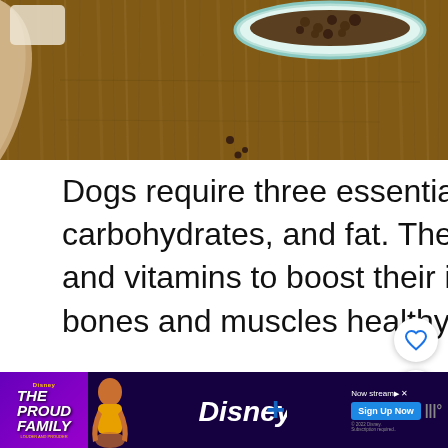[Figure (photo): Top-down photo of dog food kibble in a teal/mint bowl on a wooden surface, with a dog's ear visible on the left side]
Dogs require three essential nutrients: protein, carbohydrates, and fat. They also require certain minerals and vitamins to boost their immune system and keep their bones and muscles healthy.
[Figure (screenshot): 'What's Next' recommendation widget showing 'My Dog Is Limping But...' with a dog thumbnail]
[Figure (other): Disney+ The Proud Family advertisement banner with 'Now streaming - Sign Up Now' button]